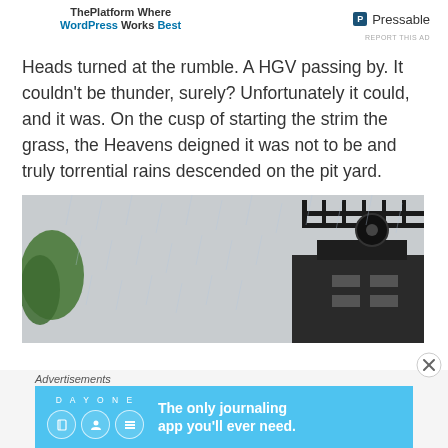ThePlatform Where WordPress Works Best | P Pressable
REPORT THIS AD
Heads turned at the rumble. A HGV passing by. It couldn't be thunder, surely? Unfortunately it could, and it was. On the cusp of starting the strim the grass, the Heavens deigned it was not to be and truly torrential rains descended on the pit yard.
[Figure (photo): A dark industrial structure resembling a mine winding tower photographed in heavy rain with a grey overcast sky and green foliage visible at the left edge.]
Advertisements
[Figure (infographic): Day One journaling app advertisement on light blue background with app icons and text: The only journaling app you'll ever need.]